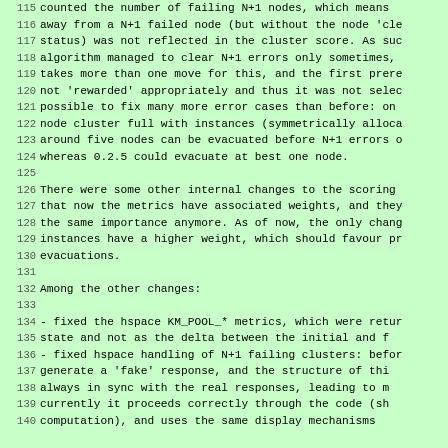115 counted the number of failing N+1 nodes, which means
116 away from a N+1 failed node (but without the node 'cle
117 status) was not reflected in the cluster score. As suc
118 algorithm managed to clear N+1 errors only sometimes,
119 takes more than one move for this, and the first prere
120 not 'rewarded' appropriately and thus it was not selec
121 possible to fix many more error cases than before: on
122 node cluster full with instances (symmetrically alloca
123 around five nodes can be evacuated before N+1 errors o
124 whereas 0.2.5 could evacuate at best one node.
125
126 There were some other internal changes to the scoring
127 that now the metrics have associated weights, and they
128 the same importance anymore. As of now, the only chang
129 instances have a higher weight, which should favour pr
130 evacuations.
131
132 Among the other changes:
133
134 - fixed the hspace KM_POOL_* metrics, which were retur
135   state and not as the delta between the initial and f
136 - fixed hspace handling of N+1 failing clusters: befor
137   generate a 'fake' response, and the structure of thi
138   always in sync with the real responses, leading to m
139   currently it proceeds correctly through the code (sh
140   computation), and uses the same display mechanisms